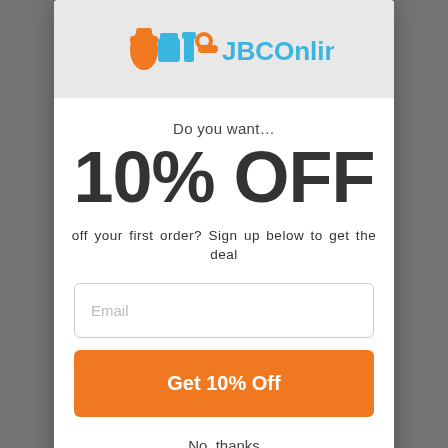[Figure (logo): JBCOnline.co.uk logo with orange and blue icon]
Do you want…
10% OFF
off your first order? Sign up below to get the deal
Email
Get 10% Off
No, thanks